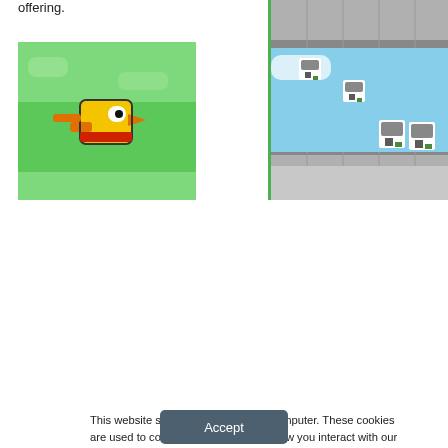offering.
[Figure (screenshot): Flappy Bird game screenshot showing yellow pixel-art bird on green/sky background]
[Figure (screenshot): Pixel-art platform game screenshot showing characters jumping on platforms with green border]
This website stores cookies on your computer. These cookies are used to collect information about how you interact with our website and allow us to remember you. We use this information in order to improve and customize your browsing experience and for analytics and metrics about our visitors both on this website and other media. To find out more about the cookies we use, see our Privacy Policy. California residents have the right to direct us not to sell their personal information to third parties by filing an Opt-Out Request: Do Not Sell My Personal Info.